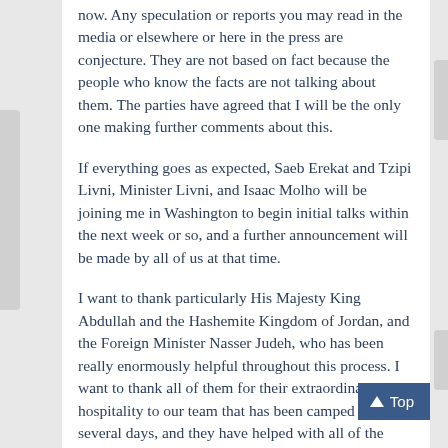now. Any speculation or reports you may read in the media or elsewhere or here in the press are conjecture. They are not based on fact because the people who know the facts are not talking about them. The parties have agreed that I will be the only one making further comments about this.
If everything goes as expected, Saeb Erekat and Tzipi Livni, Minister Livni, and Isaac Molho will be joining me in Washington to begin initial talks within the next week or so, and a further announcement will be made by all of us at that time.
I want to thank particularly His Majesty King Abdullah and the Hashemite Kingdom of Jordan, and the Foreign Minister Nasser Judeh, who has been really enormously helpful throughout this process. I want to thank all of them for their extraordinary hospitality to our team that has been camped here for several days, and they have helped with all of the logistics and been superb hosts and collaborators in this effort.